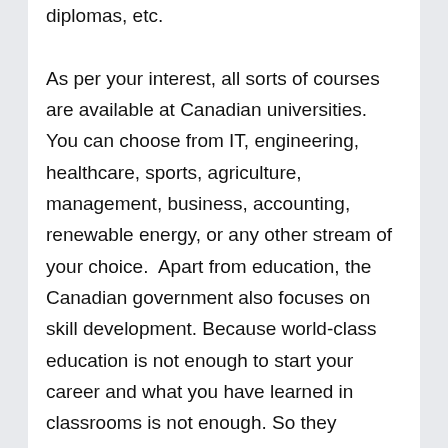diplomas, etc.

As per your interest, all sorts of courses are available at Canadian universities. You can choose from IT, engineering, healthcare, sports, agriculture, management, business, accounting, renewable energy, or any other stream of your choice.  Apart from education, the Canadian government also focuses on skill development. Because world-class education is not enough to start your career and what you have learned in classrooms is not enough. So they develop skill development programs for the students to pursue after completing their studies so that students will not face any difficulty while they start their careers. You can also enroll yourself in